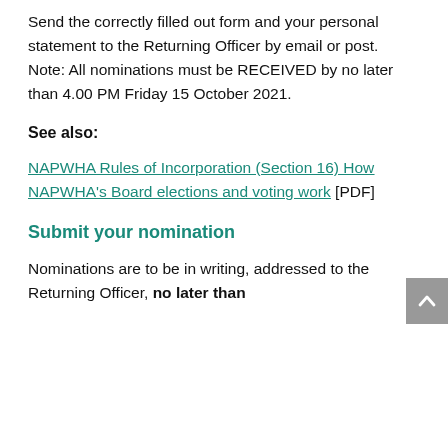Send the correctly filled out form and your personal statement to the Returning Officer by email or post.
Note: All nominations must be RECEIVED by no later than 4.00 PM Friday 15 October 2021.
See also:
NAPWHA Rules of Incorporation (Section 16) How NAPWHA's Board elections and voting work [PDF]
Submit your nomination
Nominations are to be in writing, addressed to the Returning Officer, no later than